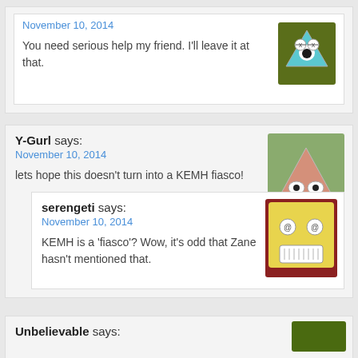November 10, 2014
You need serious help my friend. I'll leave it at that.
Y-Gurl says:
November 10, 2014
lets hope this doesn't turn into a KEMH fiasco!
serengeti says:
November 10, 2014
KEMH is a 'fiasco'? Wow, it's odd that Zane hasn't mentioned that.
Unbelievable says: